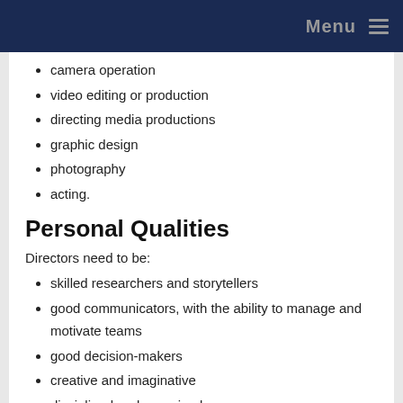Menu
camera operation
video editing or production
directing media productions
graphic design
photography
acting.
Personal Qualities
Directors need to be:
skilled researchers and storytellers
good communicators, with the ability to manage and motivate teams
good decision-makers
creative and imaginative
disciplined and organised
able to work well under pressure.
Skills